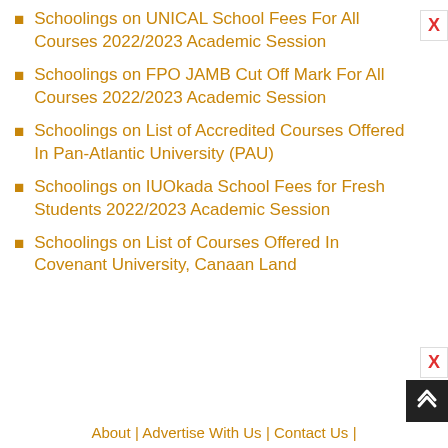Schoolings on UNICAL School Fees For All Courses 2022/2023 Academic Session
Schoolings on FPO JAMB Cut Off Mark For All Courses 2022/2023 Academic Session
Schoolings on List of Accredited Courses Offered In Pan-Atlantic University (PAU)
Schoolings on IUOkada School Fees for Fresh Students 2022/2023 Academic Session
Schoolings on List of Courses Offered In Covenant University, Canaan Land
About | Advertise With Us | Contact Us |